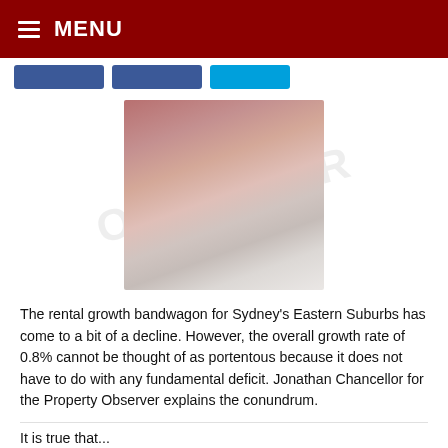MENU
[Figure (photo): Blurred/redacted photograph centered on page, showing reddish-brown tones at top fading to pale grey-pink at bottom]
The rental growth bandwagon for Sydney’s Eastern Suburbs has come to a bit of a decline. However, the overall growth rate of 0.8% cannot be thought of as portentous because it does not have to do with any fundamental deficit. Jonathan Chancellor for the Property Observer explains the conundrum.
It is true that...